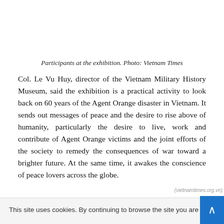Participants at the exhibition. Photo: Vietnam Times
Col. Le Vu Huy, director of the Vietnam Military History Museum, said the exhibition is a practical activity to look back on 60 years of the Agent Orange disaster in Vietnam. It sends out messages of peace and the desire to rise above of humanity, particularly the desire to live, work and contribute of Agent Orange victims and the joint efforts of the society to remedy the consequences of war toward a brighter future. At the same time, it awakes the conscience of peace lovers across the globe.
This site uses cookies. By continuing to browse the site you are agreeing to our use of cookies Find out more here